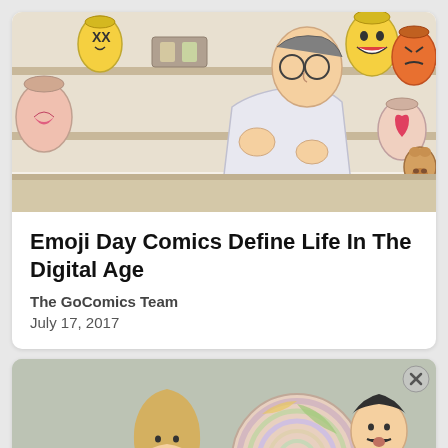[Figure (illustration): Cartoon illustration of a scientist in a lab coat examining a flask with emoji faces in jars on shelves]
Emoji Day Comics Define Life In The Digital Age
The GoComics Team
July 17, 2017
[Figure (illustration): Advertisement cartoon illustration showing two people with a large lollipop, GALAXY S22 ULTRA ad]
GALAXY S22 ULTRA
Ad | An AMG Site
report an ad